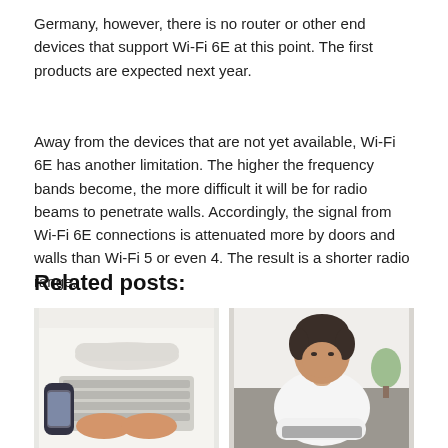Germany, however, there is no router or other end devices that support Wi-Fi 6E at this point. The first products are expected next year.
Away from the devices that are not yet available, Wi-Fi 6E has another limitation. The higher the frequency bands become, the more difficult it will be for radio beams to penetrate walls. Accordingly, the signal from Wi-Fi 6E connections is attenuated more by doors and walls than Wi-Fi 5 or even 4. The result is a shorter radio range.
Related posts:
[Figure (photo): Overhead view of hands typing on a keyboard with a smartphone and white router on a white desk]
[Figure (photo): Man in white sweater leaning forward looking at a laptop screen in a bright room]